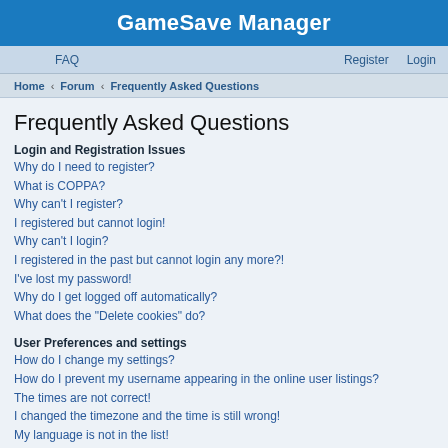GameSave Manager
FAQ   Register   Login
Home › Forum › Frequently Asked Questions
Frequently Asked Questions
Login and Registration Issues
Why do I need to register?
What is COPPA?
Why can't I register?
I registered but cannot login!
Why can't I login?
I registered in the past but cannot login any more?!
I've lost my password!
Why do I get logged off automatically?
What does the "Delete cookies" do?
User Preferences and settings
How do I change my settings?
How do I prevent my username appearing in the online user listings?
The times are not correct!
I changed the timezone and the time is still wrong!
My language is not in the list!
What are the images next to my username?